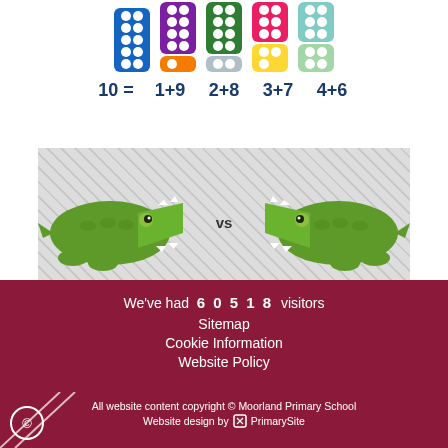[Figure (illustration): Five numicon bars showing combinations that make 10: a full blue 10-bar, a purple 1+9 bar pair, a green 2+8 bar pair, a pink/yellow 3+7 bar pair, and a teal/light 4+6 bar pair, with labels 10 = 1+9  2+8  3+7  4+6 below]
[Figure (illustration): Two cartoon alligators facing each other on a checkered background, labeled 'Less Than Gator' on left and 'Greater Than Gator' on right, with 'vs' in the middle]
We've had 60518 visitors
Sitemap
Cookie Information
Website Policy
All website content copyright © Moorland Primary School
Website design by PrimarySite